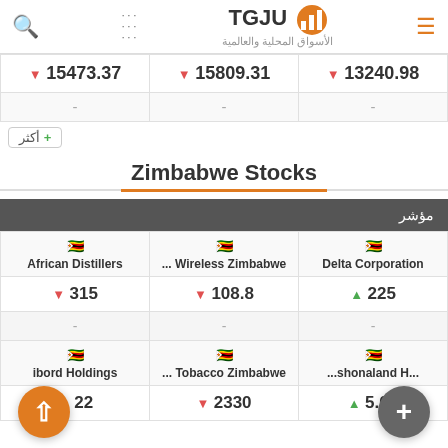TGJU — الأسواق المحلية والعالمية
| 15473.37 | 15809.31 | 13240.98 |
| --- | --- | --- |
| - | - | - |
+ أكثر
Zimbabwe Stocks
| مؤشر |
| --- |
| 🇿🇼 African Distillers | 🇿🇼 ... Wireless Zimbabwe | 🇿🇼 Delta Corporation |
| ▼ 315 | ▼ 108.8 | ▲ 225 |
| - | - | - |
| 🇿🇼 ibord Holdings | 🇿🇼 ... Tobacco Zimbabwe | 🇿🇼 ...shonaland H... |
| ▼ 22 | ▼ 2330 | ▲ 5.04 |